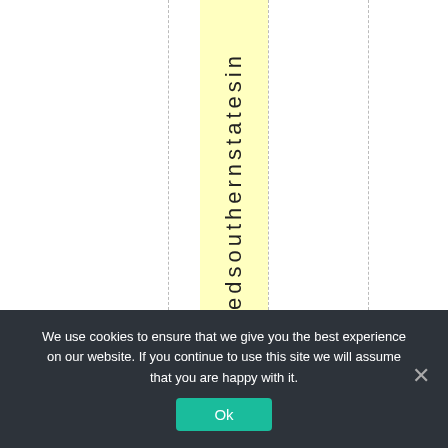[Figure (other): A document page with vertical dashed grid lines and a highlighted yellow column containing vertical text reading 'edsouthernstatesin']
We use cookies to ensure that we give you the best experience on our website. If you continue to use this site we will assume that you are happy with it.
Ok